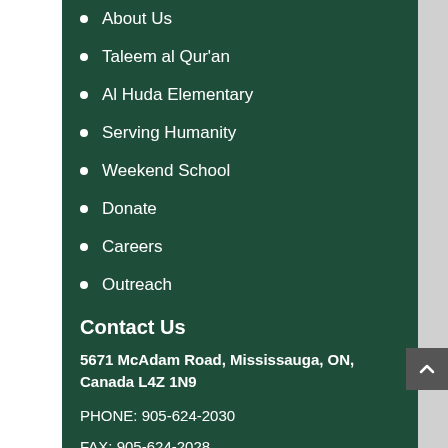About Us
Taleem al Qur'an
Al Huda Elementary
Serving Humanity
Weekend School
Donate
Careers
Outreach
Contact Us
5671 McAdam Road, Mississauga, ON, Canada L4Z 1N9
PHONE: 905-624-2030
FAX: 905-624-2028